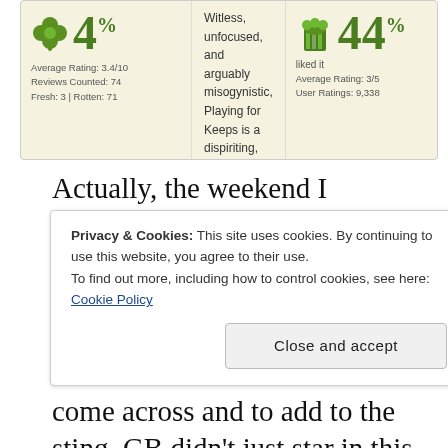[Figure (screenshot): Rotten Tomatoes score panel for 'Playing for Keeps': 4% Tomatometer (Average Rating 3.4/10, Reviews Counted 74, Fresh 3, Rotten 71) with critic consensus text, and 44% audience score (liked it, Average Rating 3/5, User Ratings 9,338)]
Actually, the weekend I checked the RT score, it was at a woeful 0% and you know what, I really can't disagree with that. It's truly one of the WORST movies I've ever come across and to add to the sting, GB didn't just star in this movie, he also produced this stinker (yikes!!).
Privacy & Cookies: This site uses cookies. By continuing to use this website, you agree to their use.
To find out more, including how to control cookies, see here: Cookie Policy
Close and accept